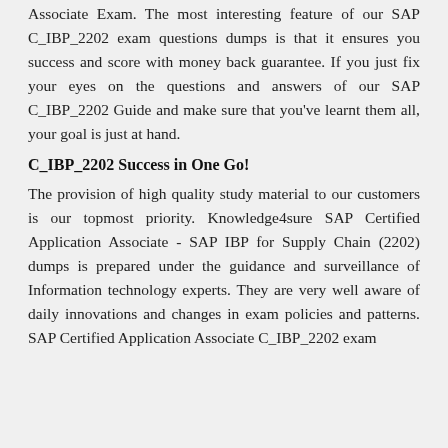Associate Exam. The most interesting feature of our SAP C_IBP_2202 exam questions dumps is that it ensures you success and score with money back guarantee. If you just fix your eyes on the questions and answers of our SAP C_IBP_2202 Guide and make sure that you've learnt them all, your goal is just at hand.
C_IBP_2202 Success in One Go!
The provision of high quality study material to our customers is our topmost priority. Knowledge4sure SAP Certified Application Associate - SAP IBP for Supply Chain (2202) dumps is prepared under the guidance and surveillance of Information technology experts. They are very well aware of daily innovations and changes in exam policies and patterns. SAP Certified Application Associate C_IBP_2202 exam